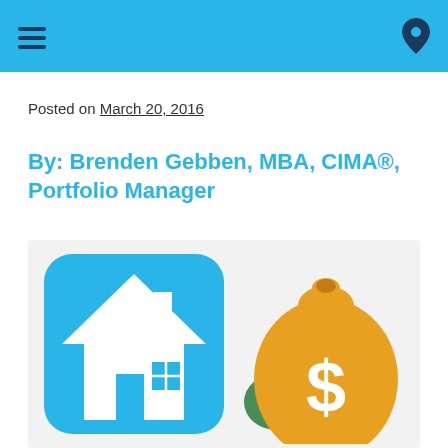Posted on March 20, 2016
By: Brenden Gebben, MBA, CIMA®, Portfolio Manager
[Figure (illustration): Illustration showing a blue rounded-square icon with a white house silhouette and an orange money bag with a dollar sign, representing home finance or mortgage investment topics.]